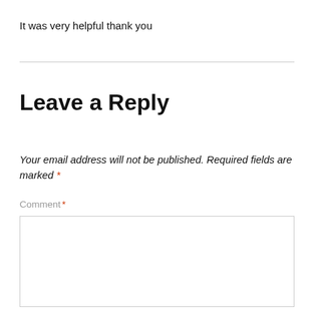It was very helpful thank you
Leave a Reply
Your email address will not be published. Required fields are marked *
Comment *